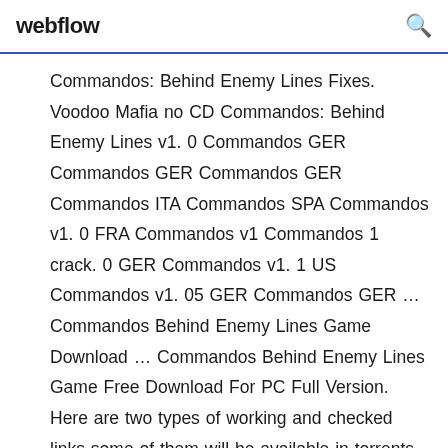webflow
Commandos: Behind Enemy Lines Fixes. Voodoo Mafia no CD Commandos: Behind Enemy Lines v1. 0 Commandos GER Commandos GER Commandos GER Commandos ITA Commandos SPA Commandos v1. 0 FRA Commandos v1 Commandos 1 crack. 0 GER Commandos v1. 1 US Commandos v1. 05 GER Commandos GER ... Commandos Behind Enemy Lines Game Download ... Commandos Behind Enemy Lines Game Free Download For PC Full Version. Here are two types of working and checked links some of them will be available in torrents and others are direct links so, get them immediately. In this installment you need to follow the given instructions and